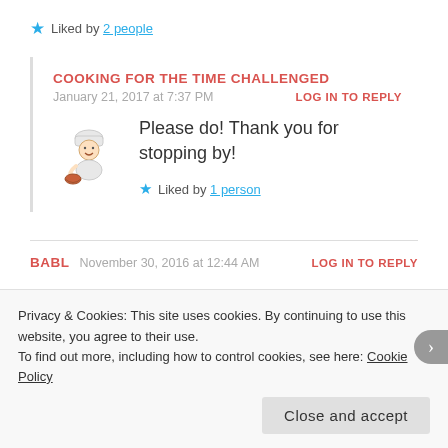★ Liked by 2 people
COOKING FOR THE TIME CHALLENGED
January 21, 2017 at 7:37 PM
LOG IN TO REPLY
Please do! Thank you for stopping by!
★ Liked by 1 person
BABL   November 30, 2016 at 12:44 AM   LOG IN TO REPLY
Privacy & Cookies: This site uses cookies. By continuing to use this website, you agree to their use.
To find out more, including how to control cookies, see here: Cookie Policy
Close and accept